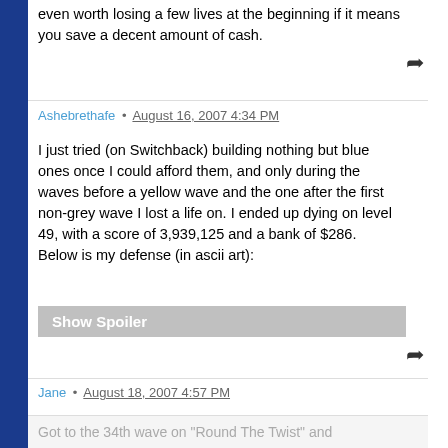even worth losing a few lives at the beginning if it means you save a decent amount of cash.
Ashebrethafe • August 16, 2007 4:34 PM
I just tried (on Switchback) building nothing but blue ones once I could afford them, and only during the waves before a yellow wave and the one after the first non-grey wave I lost a life on. I ended up dying on level 49, with a score of 3,939,125 and a bank of $286.
Below is my defense (in ascii art):
Show Spoiler
Jane • August 18, 2007 4:57 PM
Got to the 34th wave on "Round The Twist" and